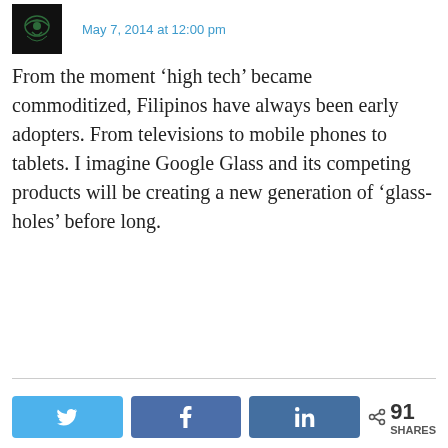[Figure (photo): User avatar — dark green stylized graphic icon]
May 7, 2014 at 12:00 pm
From the moment ‘high tech’ became commoditized, Filipinos have always been early adopters. From televisions to mobile phones to tablets. I imagine Google Glass and its competing products will be creating a new generation of ‘glass-holes’ before long.
Reply
Privacy & Cookies: This site uses cookies. By continuing to use this website, you agree to their use. To find out more, including how to control cookies, see here: Cookie Policy